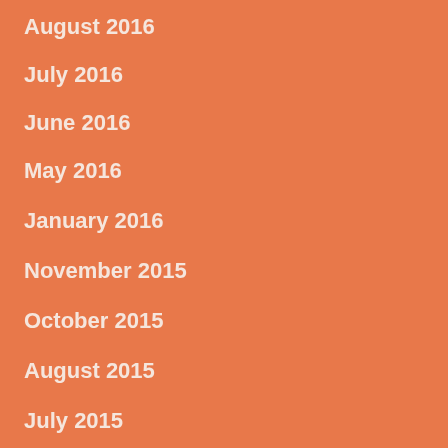August 2016
July 2016
June 2016
May 2016
January 2016
November 2015
October 2015
August 2015
July 2015